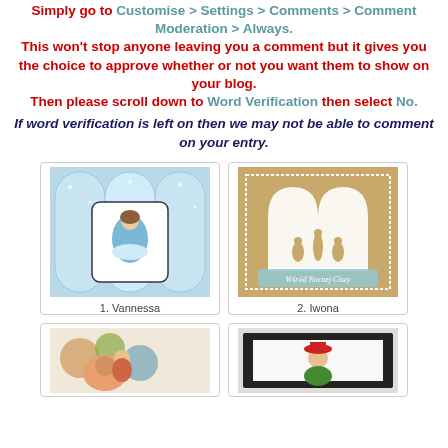Simply go to Customise > Settings > Comments > Comment Moderation > Always. This won't stop anyone leaving you a comment but it gives you the choice to approve whether or not you want them to show on your blog. Then please scroll down to Word Verification then select No.
If word verification is left on then we may not be able to comment on your entry.
[Figure (photo): Craft card with blue winter scene and character in blue dress]
1. Vannessa
[Figure (photo): Kraft paper card with white laser-cut nativity scene, text 'Wsrod Nocnej Ciszy']
2. Iwona
[Figure (photo): Colorful craft card with character, partially visible]
[Figure (photo): Framed card with character in hat, partially visible]